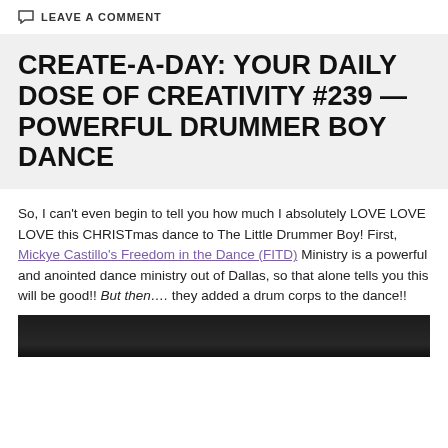LEAVE A COMMENT
CREATE-A-DAY: YOUR DAILY DOSE OF CREATIVITY #239 — POWERFUL DRUMMER BOY DANCE
So, I can't even begin to tell you how much I absolutely LOVE LOVE LOVE this CHRISTmas dance to The Little Drummer Boy! First, Mickye Castillo's Freedom in the Dance (FITD) Ministry is a powerful and anointed dance ministry out of Dallas, so that alone tells you this will be good!! But then.... they added a drum corps to the dance!!
[Figure (photo): Dark/black bottom strip suggesting a video or image thumbnail of a performance]